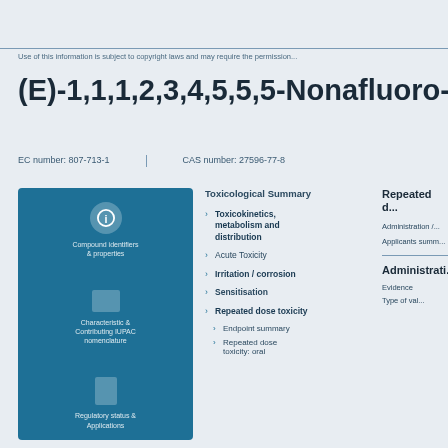Use of this information is subject to copyright laws and may require the permission...
(E)-1,1,1,2,3,4,5,5,5-Nonafluoro-4-(trifluoro...
EC number: 807-713-1  |  CAS number: 27596-77-8
[Figure (infographic): Teal panel with three icon blocks: information icon with compound identifiers text, a rectangle icon with Characteristic & Contributing IUPAC nomenclature, and a document icon with Regulatory status & Applications]
Toxicological Summary
Toxicokinetics, metabolism and distribution
Acute Toxicity
Irritation / corrosion
Sensitisation
Repeated dose toxicity
Endpoint summary
Repeated dose toxicity: oral
Repeated d...
Administration /...
Applicants summ...
Administrati...
Evidence
Type of val...